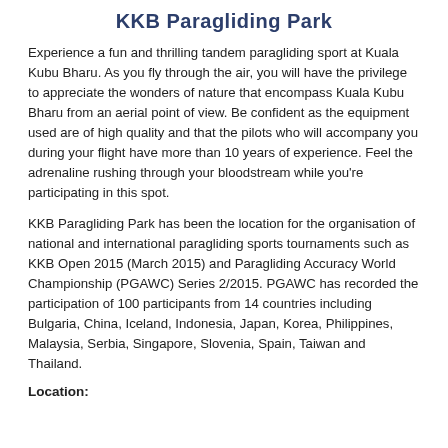KKB Paragliding Park
Experience a fun and thrilling tandem paragliding sport at Kuala Kubu Bharu. As you fly through the air, you will have the privilege to appreciate the wonders of nature that encompass Kuala Kubu Bharu from an aerial point of view. Be confident as the equipment used are of high quality and that the pilots who will accompany you during your flight have more than 10 years of experience. Feel the adrenaline rushing through your bloodstream while you're participating in this spot.
KKB Paragliding Park has been the location for the organisation of national and international paragliding sports tournaments such as KKB Open 2015 (March 2015) and Paragliding Accuracy World Championship (PGAWC) Series 2/2015. PGAWC has recorded the participation of 100 participants from 14 countries including Bulgaria, China, Iceland, Indonesia, Japan, Korea, Philippines, Malaysia, Serbia, Singapore, Slovenia, Spain, Taiwan and Thailand.
Location: